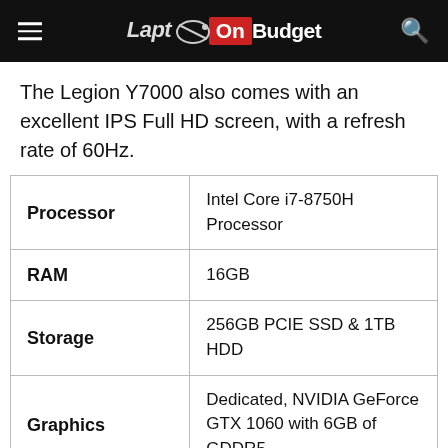LaptopOnBudget
The Legion Y7000 also comes with an excellent IPS Full HD screen, with a refresh rate of 60Hz.
|  |  |
| --- | --- |
| Processor | Intel Core i7-8750H Processor |
| RAM | 16GB |
| Storage | 256GB PCIE SSD & 1TB HDD |
| Graphics | Dedicated, NVIDIA GeForce GTX 1060 with 6GB of GDDR5 |
|  | 15.6 inch, 1920 x 1080 |